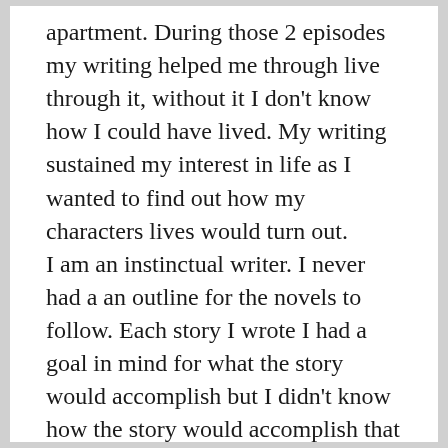apartment. During those 2 episodes my writing helped me through live through it, without it I don't know how I could have lived. My writing sustained my interest in life as I wanted to find out how my characters lives would turn out. I am an instinctual writer. I never had a an outline for the novels to follow. Each story I wrote I had a goal in mind for what the story would accomplish but I didn't know how the story would accomplish that goal until I actually wrote down the story. Because of that I lived through those experiences because I wanted to know how the story & characters resolved the goals I